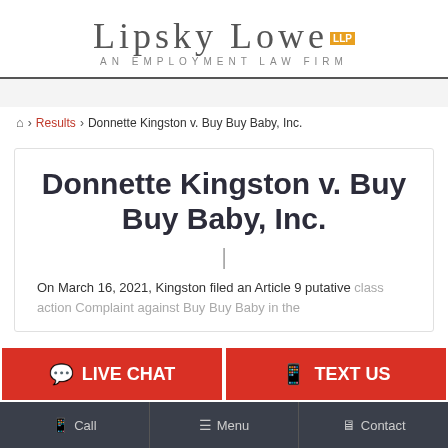[Figure (logo): Lipsky Lowe LLP - An Employment Law Firm logo]
🏠 > Results > Donnette Kingston v. Buy Buy Baby, Inc.
Donnette Kingston v. Buy Buy Baby, Inc.
On March 16, 2021, Kingston filed an Article 9 putative class action Complaint against Buy Buy Baby in the
💬 LIVE CHAT
📱 TEXT US
📱 Call   ☰ Menu   🖥 Contact